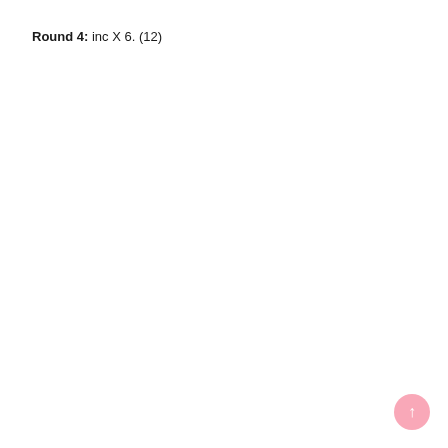Round 4: inc X 6. (12)
[Figure (illustration): Pink circular navigation button with upward arrow in bottom-right corner]